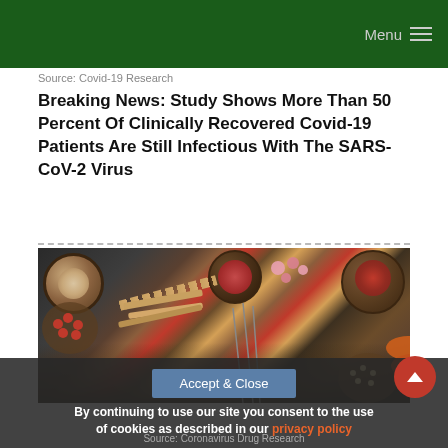Menu
Source: Covid-19 Research
Breaking News: Study Shows More Than 50 Percent Of Clinically Recovered Covid-19 Patients Are Still Infectious With The SARS-CoV-2 Virus
[Figure (photo): Overhead view of various herbs, spices, and natural ingredients in dark bowls arranged on a dark surface — includes red berries, dried flowers, root pieces, seeds, and plant materials associated with traditional medicine]
By continuing to use our site you consent to the use of cookies as described in our privacy policy
Source: Coronavirus Drug Research